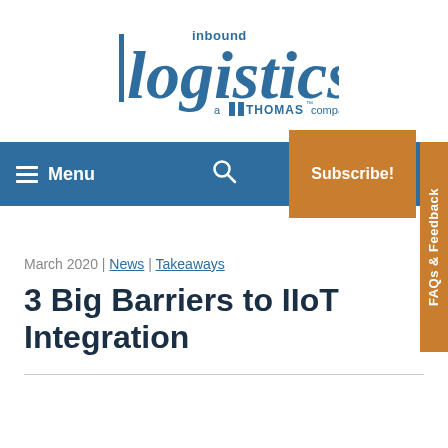[Figure (logo): Inbound Logistics logo — 'inbound logistics a Thomas company' in blue]
Menu | Search | Subscribe! | FAQs & Feedback
March 2020 | News | Takeaways
3 Big Barriers to IIoT Integration